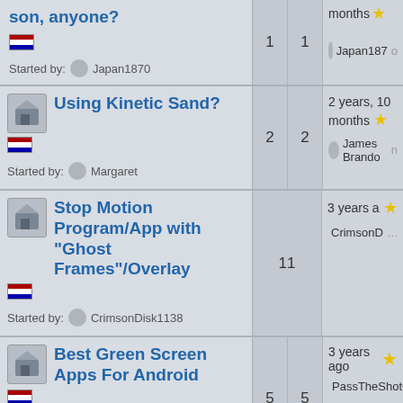son, anyone? Started by: Japan1870 | 1 reply | 1 view | months ago | Japan1870
Using Kinetic Sand? Started by: Margaret | 2 replies | 2 views | 2 years, 10 months ago | James Brandon
Stop Motion Program/App with "Ghost Frames"/Overlay Started by: CrimsonDisk1138 | 11 replies | 3 years ago | CrimsonD
Best Green Screen Apps For Android Started by: PassTheShotGu | 5 replies | 5 views | 3 years ago | PassTheShotGu